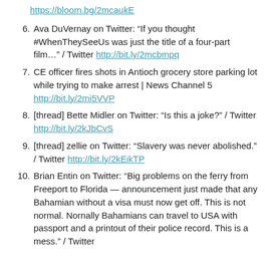https://bloom.bg/2mcaukE
6. Ava DuVernay on Twitter: “If you thought #WhenTheySeeUs was just the title of a four-part film…” / Twitter http://bit.ly/2mcbmpq
7. CE officer fires shots in Antioch grocery store parking lot while trying to make arrest | News Channel 5 http://bit.ly/2mi5VVP
8. [thread] Bette Midler on Twitter: “Is this a joke?” / Twitter http://bit.ly/2kJbCvS
9. [thread] zellie on Twitter: “Slavery was never abolished.” / Twitter http://bit.ly/2kEikTP
10. Brian Entin on Twitter: “Big problems on the ferry from Freeport to Florida — announcement just made that any Bahamian without a visa must now get off. This is not normal. Nornally Bahamians can travel to USA with passport and a printout of their police record. This is a mess.” / Twitter